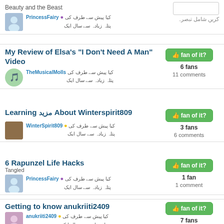Beauty and the Beast
کیا پیش سے طرف کی ● PrincessFairy
پتلہ زیادہ سے سال ایک
کریں شامل تبصرہ
My Review of Elsa's "I Don't Need A Man" Video
fan of it? 6 fans
11 comments
کیا پیش سے طرف کی TheMusicalMolls
پتلہ زیادہ سے سال ایک
Learning مزید About Winterspirit809
fan of it? 3 fans
6 comments
کیا پیش سے طرف کی ● WinterSpirit809
پتلہ زیادہ سے سال ایک
6 Rapunzel Life Hacks
Tangled
fan of it? 1 fan
1 comment
کیا پیش سے طرف کی ● PrincessFairy
پتلہ زیادہ سے سال ایک
Getting to know anukriiti2409
fan of it? 7 fans
16 comments
کیا پیش سے طرف کی ● anukriiti2409
پتلہ زیادہ سے سال ایک